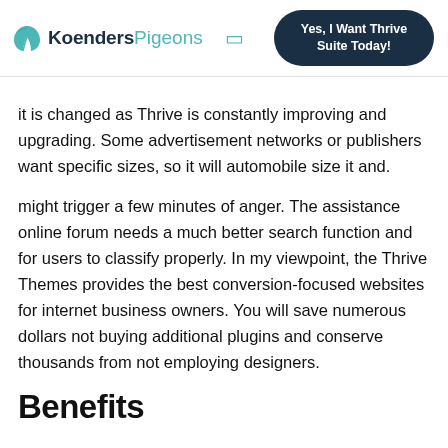Koenders Pigeons — Yes, I Want Thrive Suite Today!
it is changed as Thrive is constantly improving and upgrading. Some advertisement networks or publishers want specific sizes, so it will automobile size it and.
might trigger a few minutes of anger. The assistance online forum needs a much better search function and for users to classify properly. In my viewpoint, the Thrive Themes provides the best conversion-focused websites for internet business owners. You will save numerous dollars not buying additional plugins and conserve thousands from not employing designers.
Benefits